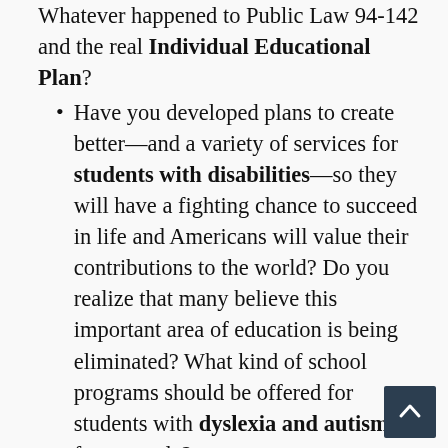Whatever happened to Public Law 94-142 and the real Individual Educational Plan?
Have you developed plans to create better—and a variety of services for students with disabilities—so they will have a fighting chance to succeed in life and Americans will value their contributions to the world? Do you realize that many believe this important area of education is being eliminated? What kind of school programs should be offered for students with dyslexia and autism for example?